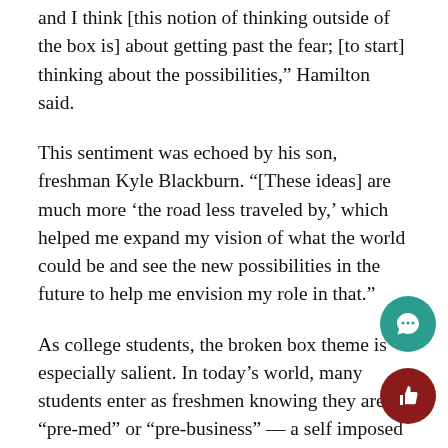and I think [this notion of thinking outside of the box is] about getting past the fear; [to start] thinking about the possibilities,” Hamilton said.
This sentiment was echoed by his son, freshman Kyle Blackburn. “[These ideas] are much more ‘the road less traveled by,’ which helped me expand my vision of what the world could be and see the new possibilities in the future to help me envision my role in that.”
As college students, the broken box theme is especially salient. In today’s world, many students enter as freshmen knowing they are “pre-med” or “pre-business” — a self imposed limitation on wha one can study. During an interview, Zoe Walling, th Master of Ceremonies for TEDxWakeForestU, sha “the broken box is a more active and empowering